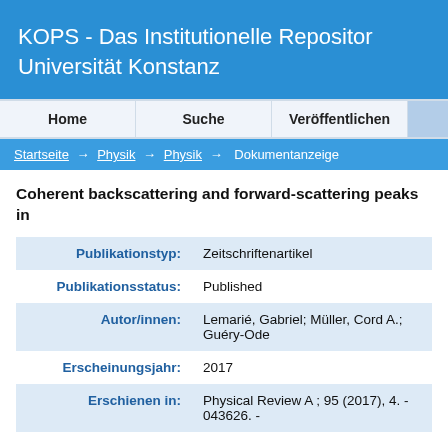KOPS - Das Institutionelle Repository der Universität Konstanz
Home  Suche  Veröffentlichen
Startseite → Physik → Physik → Dokumentanzeige
Coherent backscattering and forward-scattering peaks in...
| Field | Value |
| --- | --- |
| Publikationstyp: | Zeitschriftenartikel |
| Publikationsstatus: | Published |
| Autor/innen: | Lemarié, Gabriel; Müller, Cord A.; Guéry-Ode... |
| Erscheinungsjahr: | 2017 |
| Erschienen in: | Physical Review A ; 95 (2017), 4. - 043626. -... |